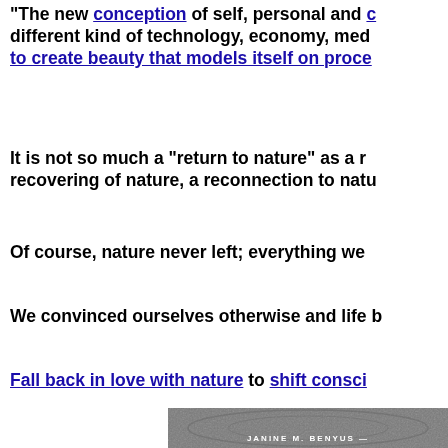"The new conception of self, personal and c... different kind of technology, economy, med... to create beauty that models itself on proce...
It is not so much a "return to nature" as a recovering of nature, a reconnection to natu...
Of course, nature never left; everything we...
We convinced ourselves otherwise and life b...
Fall back in love with nature to shift consci...
[Figure (photo): Partial photo of what appears to be a book cover or card by Janine M. Benyus, showing a textured natural surface (possibly wood or stone) with the author name JANINE M. BENYUS visible at the bottom.]